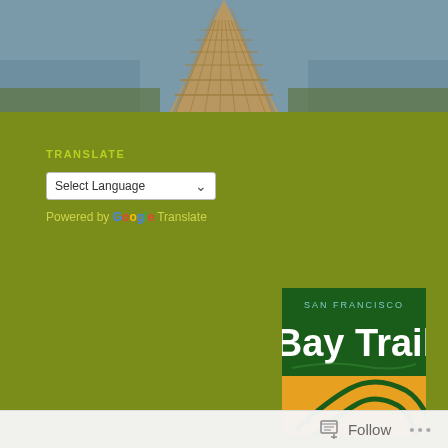[Figure (photo): Wooden boardwalk/pier extending into the distance over water, viewed from above]
TRANSLATE
[Figure (screenshot): Select Language dropdown widget with arrow]
Powered by Google Translate
[Figure (logo): San Francisco Bay Trail logo — green background with Bay Trail text and winding path graphic on orange/yellow lower half]
Day 6: Deer in the Spotlight
june 5, 2013 by kurtschwabe
[Figure (photo): Green leafy vegetation/nature scene]
Follow